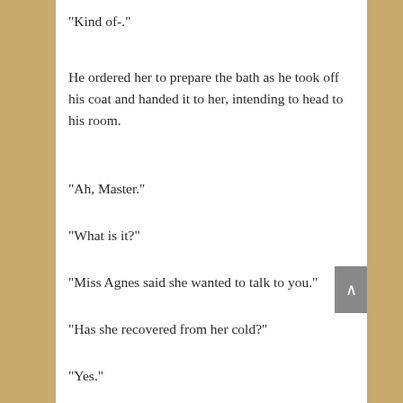“Kind of-.”
He ordered her to prepare the bath as he took off his coat and handed it to her, intending to head to his room.
“Ah, Master.”
“What is it?”
“Miss Agnes said she wanted to talk to you.”
“Has she recovered from her cold?”
“Yes.”